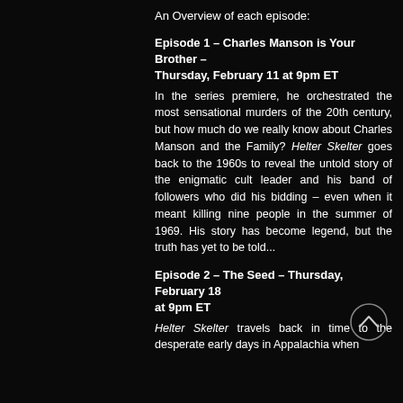An Overview of each episode:
Episode 1 – Charles Manson is Your Brother – Thursday, February 11 at 9pm ET
In the series premiere, he orchestrated the most sensational murders of the 20th century, but how much do we really know about Charles Manson and the Family? Helter Skelter goes back to the 1960s to reveal the untold story of the enigmatic cult leader and his band of followers who did his bidding – even when it meant killing nine people in the summer of 1969. His story has become legend, but the truth has yet to be told...
Episode 2 – The Seed – Thursday, February 18 at 9pm ET
Helter Skelter travels back in time to the desperate early days in Appalachia when